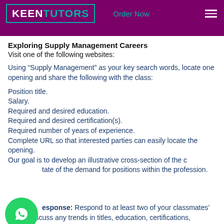KEENTUTORS   Order Now
Exploring Supply Management Careers
Visit one of the following websites:
Using “Supply Management” as your key search words, locate one opening and share the following with the class:
Position title.
Salary.
Required and desired education.
Required and desired certification(s).
Required number of years of experience.
Complete URL so that interested parties can easily locate the opening.
Our goal is to develop an illustrative cross-section of the c[whatsapp]tate of the demand for positions within the profession.
C[whatsapp]esponse: Respond to at least two of your classmates’ posts. Discuss any trends in titles, education, certifications,